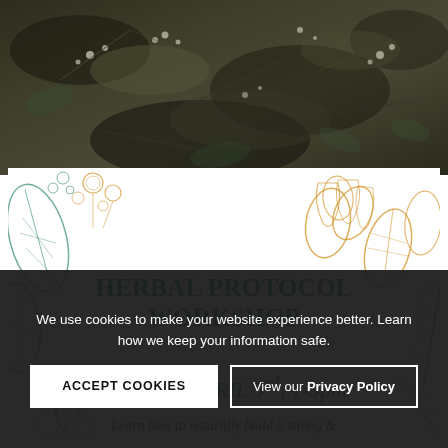[Figure (photo): Dark overhead photo of dried herbs, leaves, flowers, and plant stems on dark soil/surface — moody botanical photography in dark greens and earth tones with small white flower clusters visible]
[Figure (illustration): Herbal workshop promotional banner with botanical illustrations of leaves, berries, seed pods, and flowers in teal/green and golden-yellow colors surrounding centered text]
HERBAL PROTOCOL WORKSHOP
SUNDAY APRIL 3rd, 1-3pm
Learn how to naturally build a strong & robust immune system with
We use cookies to make your website experience better. Learn how we keep your information safe.
ACCEPT COOKIES
View our Privacy Policy